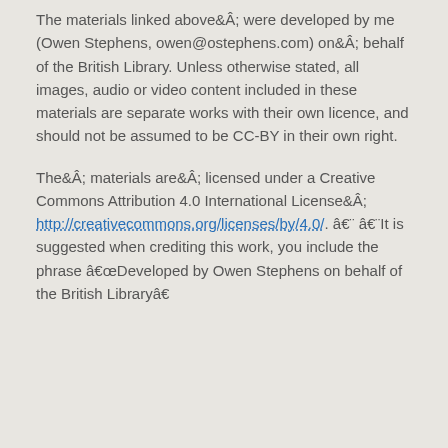The materials linked aboveÂ were developed by me (Owen Stephens, owen@ostephens.com) onÂ behalf of the British Library. Unless otherwise stated, all images, audio or video content included in these materials are separate works with their own licence, and should not be assumed to be CC-BY in their own right.
TheÂ materials areÂ licensed under a Creative Commons Attribution 4.0 International LicenseÂ http://creativecommons.org/licenses/by/4.0/. â€¨ â€¨It is suggested when crediting this work, you include the phrase â€œDeveloped by Owen Stephens on behalf of the British Libraryâ€